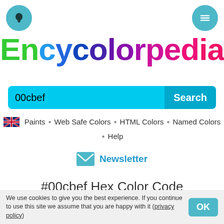[Figure (logo): Encycolorpedia logo with multicolor gradient text from green to purple to pink]
00cbef    Search
Paints • Web Safe Colors • HTML Colors • Named Colors • Help
Newsletter
#00cbef Hex Color Code
The hexadecimal color code #00cbef is a
We use cookies to give you the best experience. If you continue to use this site we assume that you are happy with it (privacy policy)